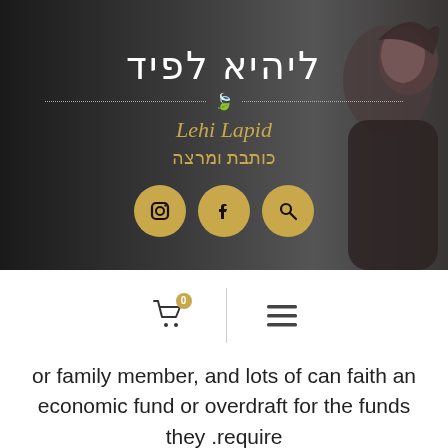[Figure (screenshot): Hero banner with dark background showing a woman posing. Contains Hebrew title text, decorative divider, script name 'Lehi Lapid', Hebrew subtitle, and three golden social media icons (Instagram, Facebook, Search).]
ליהיא לפיד
Lehi Lapid
כותבת ומרצה
0
or family member, and lots of can faith an economic fund or overdraft for the funds they .require